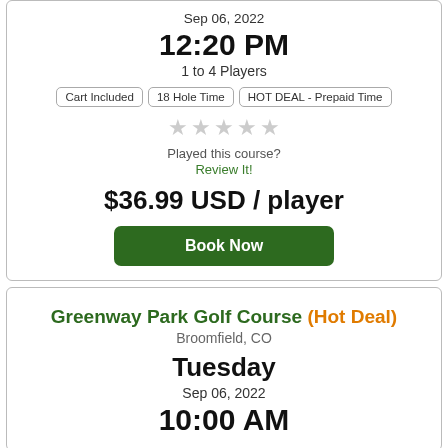Sep 06, 2022
12:20 PM
1 to 4 Players
Cart Included | 18 Hole Time | HOT DEAL - Prepaid Time
Played this course? Review It!
$36.99 USD / player
Book Now
Greenway Park Golf Course (Hot Deal)
Broomfield, CO
Tuesday
Sep 06, 2022
10:00 AM (partial)